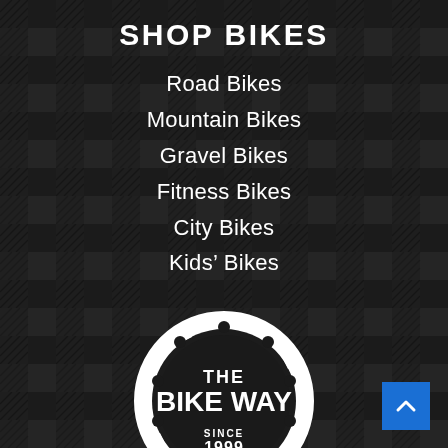SHOP BIKES
Road Bikes
Mountain Bikes
Gravel Bikes
Fitness Bikes
City Bikes
Kids' Bikes
[Figure (logo): The Bike Way logo — a gear/sprocket shape containing the text 'THE BIKE WAY SINCE 1999' in white on dark background]